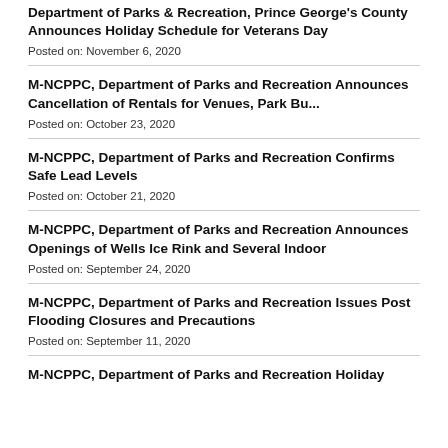Department of Parks & Recreation, Prince George's County Announces Holiday Schedule for Veterans Day
Posted on: November 6, 2020
M-NCPPC, Department of Parks and Recreation Announces Cancellation of Rentals for Venues, Park Bu...
Posted on: October 23, 2020
M-NCPPC, Department of Parks and Recreation Confirms Safe Lead Levels
Posted on: October 21, 2020
M-NCPPC, Department of Parks and Recreation Announces Openings of Wells Ice Rink and Several Indoor
Posted on: September 24, 2020
M-NCPPC, Department of Parks and Recreation Issues Post Flooding Closures and Precautions
Posted on: September 11, 2020
M-NCPPC, Department of Parks and Recreation Holiday